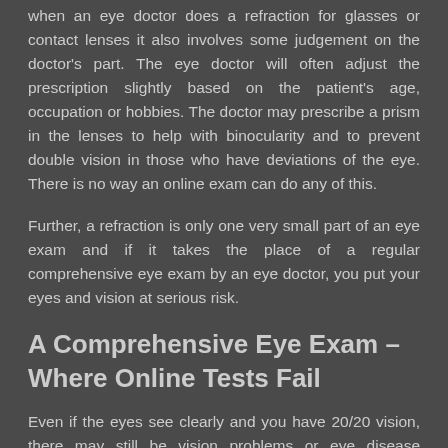when an eye doctor does a refraction for glasses or contact lenses it also involves some judgement on the doctor's part. The eye doctor will often adjust the prescription slightly based on the patient's age, occupation or hobbies. The doctor may prescribe a prism in the lenses to help with binocularity and to prevent double vision in those who have deviations of the eye. There is no way an online exam can do any of this.
Further, a refraction is only one very small part of an eye exam and if it takes the place of a regular comprehensive eye exam by an eye doctor, you put your eyes and vision at serious risk.
A Comprehensive Eye Exam – Where Online Tests Fail
Even if the eyes see clearly and you have 20/20 vision, there may still be vision problems or eye disease present.